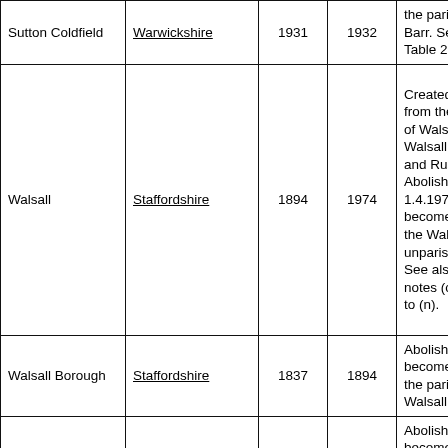| Name | County | From | To | Notes |
| --- | --- | --- | --- | --- |
| Sutton Coldfield | Warwickshire | 1931 | 1932 | the parish of Great Barr. See also Table 2, note (b). |
| Walsall | Staffordshire | 1894 | 1974 | Created 1894 from the parishes of Walsall Foreign, Walsall Borough, and Rushall. Abolished 1.4.1974 to become part of the Walsall unparished area. See also Table 2, notes (c), and (e) to (n). |
| Walsall Borough | Staffordshire | 1837 | 1894 | Abolished 1894 to become part of the parish of Walsall. |
| Walsall Foreign | Staffordshire | 1837 | 1894 | Abolished 1894 to become parts of the parishes of Walsall and Walsall Wood. |